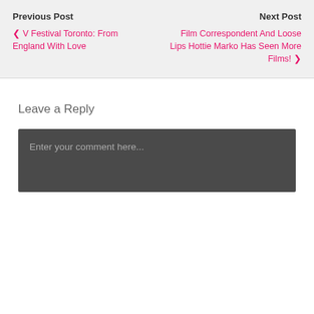Previous Post
‹ V Festival Toronto: From England With Love
Next Post
Film Correspondent And Loose Lips Hottie Marko Has Seen More Films! ›
Leave a Reply
Enter your comment here...